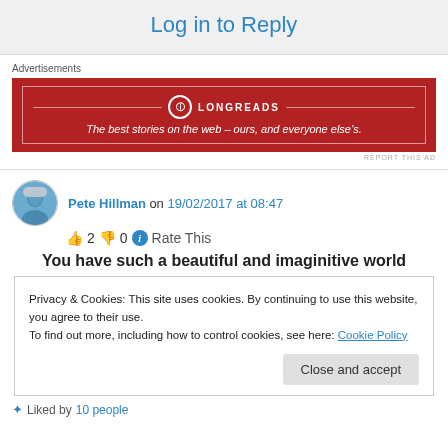Log in to Reply
Advertisements
[Figure (other): Longreads advertisement banner. Red background with white border and text: 'LONGREADS – The best stories on the web – ours, and everyone else's.']
REPORT THIS AD
Pete Hillman on 19/02/2017 at 08:47
👍 2 👎 0 ℹ Rate This
You have such a beautiful and imaginitive world
Privacy & Cookies: This site uses cookies. By continuing to use this website, you agree to their use.
To find out more, including how to control cookies, see here: Cookie Policy
Close and accept
Liked by 10 people